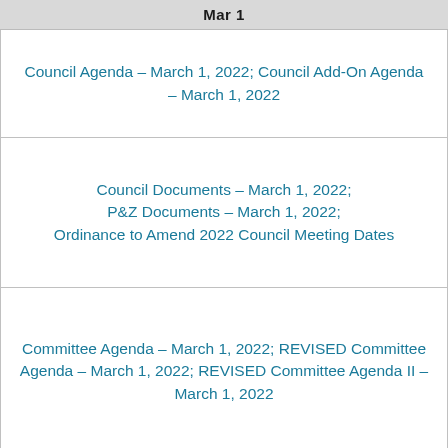Mar 1
Council Agenda – March 1, 2022; Council Add-On Agenda – March 1, 2022
Council Documents – March 1, 2022; P&Z Documents – March 1, 2022; Ordinance to Amend 2022 Council Meeting Dates
Committee Agenda – March 1, 2022; REVISED Committee Agenda – March 1, 2022; REVISED Committee Agenda II – March 1, 2022